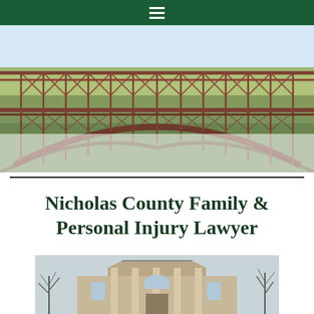[Figure (photo): Steel arch bridge (New River Gorge Bridge, West Virginia) photographed from below, showing the large metal truss structure spanning a gorge with autumn foliage in the background]
Nicholas County Family & Personal Injury Lawyer
[Figure (photo): Exterior of a classic stone courthouse building with columns and triangular pediment, photographed in winter with bare trees surrounding it]